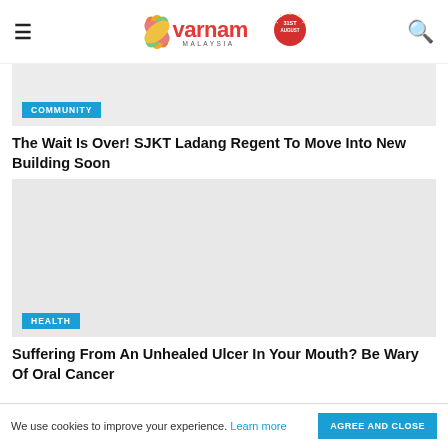Varnam Malaysia
[Figure (photo): Varnam Malaysia news website header with logo, hamburger menu, and search icon]
[Figure (photo): Grey placeholder image for COMMUNITY article]
The Wait Is Over! SJKT Ladang Regent To Move Into New Building Soon
[Figure (photo): Grey placeholder image for HEALTH article]
Suffering From An Unhealed Ulcer In Your Mouth? Be Wary Of Oral Cancer
We use cookies to improve your experience. Learn more